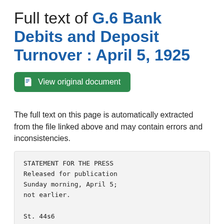Full text of G.6 Bank Debits and Deposit Turnover : April 5, 1925
[Figure (other): Green button labeled 'View original document' with a document icon]
The full text on this page is automatically extracted from the file linked above and may contain errors and inconsistencies.
STATEMENT FOR THE PRESS
Released for publication
Sunday morning, April 5;
not earlier.

St. 44s6
Federal Reserve Board,